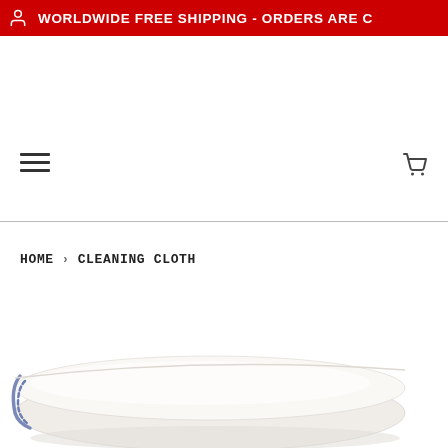WORLDWIDE FREE SHIPPING - ORDERS ARE C
[Figure (screenshot): Navigation bar with hamburger menu icon on the left and shopping cart icon on the right]
HOME › CLEANING CLOTH
[Figure (photo): A rolled white cleaning cloth with blue stitched border, photographed on a white background]